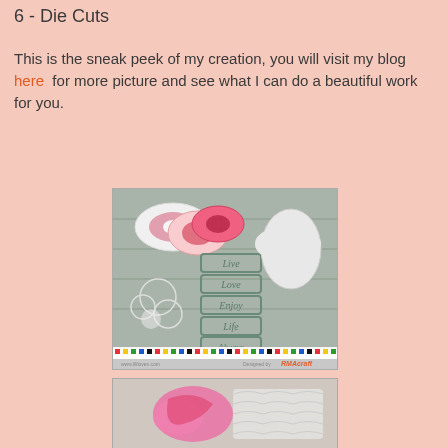6 - Die Cuts
This is the sneak peek of my creation, you will visit my blog here for more picture and see what I can do a beautiful work for you.
[Figure (photo): Photo of crafting supplies including washi tape rolls and die cut shapes (clouds, flowers, word blocks with Live Love Enjoy Life Always) on a wooden surface, with a decorative border at the bottom.]
[Figure (photo): Photo showing pink yarn/ribbon and lace die cut pieces on a surface.]